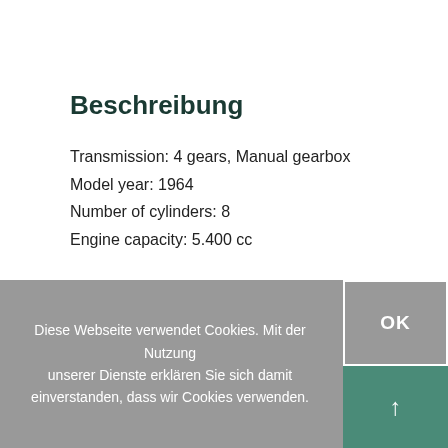Beschreibung
Transmission: 4 gears, Manual gearbox
Model year: 1964
Number of cylinders: 8
Engine capacity: 5.400 cc
Diese Webseite verwendet Cookies. Mit der Nutzung unserer Dienste erklären Sie sich damit einverstanden, dass wir Cookies verwenden.